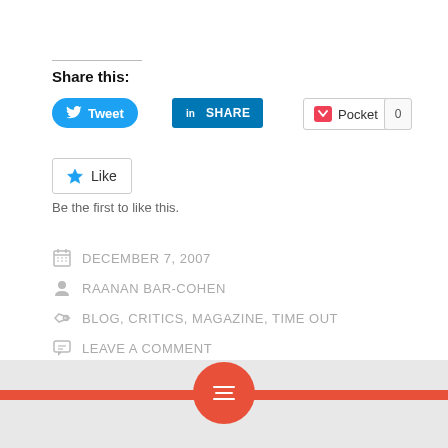Share this:
[Figure (screenshot): Tweet button (blue rounded), LinkedIn SHARE button (blue), Pocket button with count 0]
[Figure (screenshot): Like button with star icon]
Be the first to like this.
DECEMBER 7, 2007
RAANAN BAR-COHEN
BLOG, CRITICS, MAGAZINE, TIME OUT
LEAVE A COMMENT
[Figure (infographic): Red bar with red circle containing hamburger/menu icon at bottom of page]